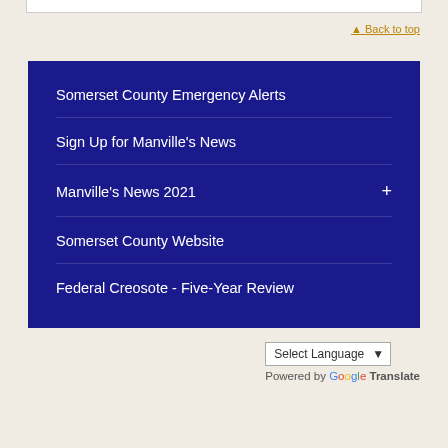Back to top
Somerset County Emergency Alerts
Sign Up for Manville's News
Manville's News 2021
Somerset County Website
Federal Creosote - Five-Year Review
Select Language
Powered by Google Translate